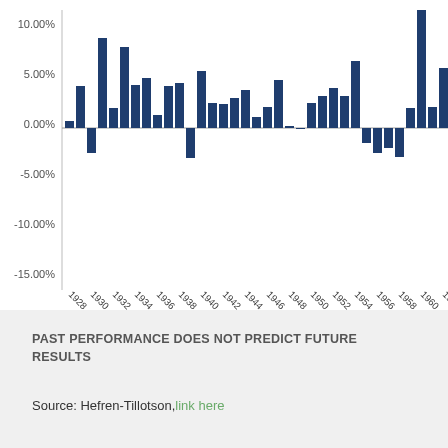[Figure (bar-chart): ]
PAST PERFORMANCE DOES NOT PREDICT FUTURE RESULTS
Source: Hefren-Tillotson, link here